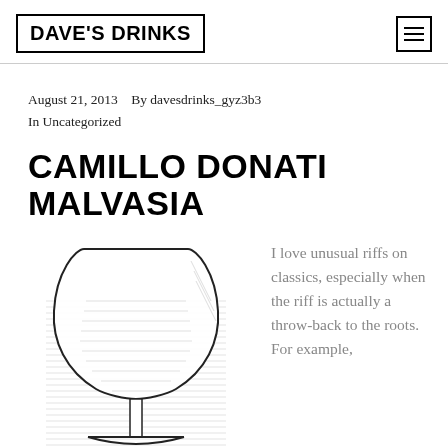DAVE'S DRINKS
August 21, 2013   By davesdrinks_gyz3b3
In Uncategorized
CAMILLO DONATI MALVASIA
[Figure (illustration): Line drawing illustration of a wine glass with horizontal hatching lines in the background]
I love unusual riffs on classics, especially when the riff is actually a throw-back to the roots. For example,